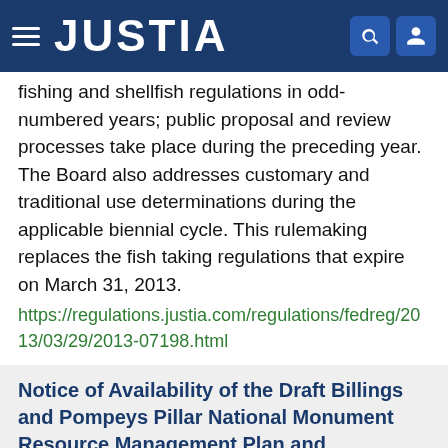JUSTIA
fishing and shellfish regulations in odd-numbered years; public proposal and review processes take place during the preceding year. The Board also addresses customary and traditional use determinations during the applicable biennial cycle. This rulemaking replaces the fish taking regulations that expire on March 31, 2013.
https://regulations.justia.com/regulations/fedreg/2013/03/29/2013-07198.html
Notice of Availability of the Draft Billings and Pompeys Pillar National Monument Resource Management Plan and Environmental Impact Statement, MT
Document Number: 2013-07196
Type: Notice
Date: 2013-03-29
Agency: Department of the Interior, Bureau of